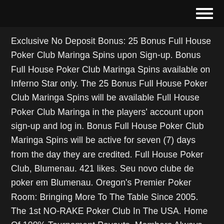Exclusive No Deposit Bonus: 25 Bonus Full House Poker Club Maringa Spins upon Sign-up. Bonus Full House Poker Club Maringa Spins available on Inferno Star only. The 25 Bonus Full House Poker Club Maringa Spins will be available Full House Poker Club Maringa in the players' account upon sign-up and log in. Bonus Full House Poker Club Maringa Spins will be active for seven (7) days from the day they are credited. Full House Poker Club, Blumenau. 421 likes. Seu novo clube de poker em Blumenau. Oregon's Premier Poker Room: Bringing More To The Table Since 2005. The 1st NO-RAKE Poker Club In The USA. Home Of 100% Tournament Payouts. Members Always Win. Oregon's Premier Poker Room: Bringing More To The Table Since 2005. The 1st NO-RAKE Poker Club In The USA.